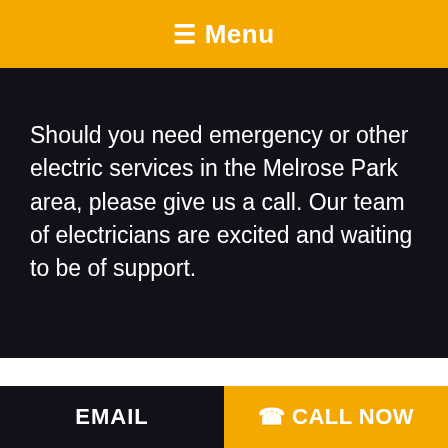☰ Menu
Should you need emergency or other electric services in the Melrose Park area, please give us a call. Our team of electricians are excited and waiting to be of support.
EMAIL   ☎ CALL NOW